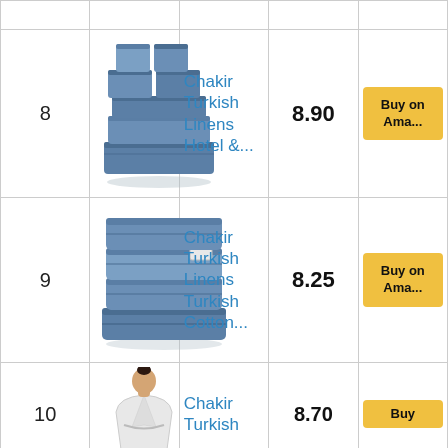| # | Image | Product | Score | Action |
| --- | --- | --- | --- | --- |
| 8 | [towel set image] | Chakir Turkish Linens Hotel &... | 8.90 | Buy on Ama... |
| 9 | [bath towel stack image] | Chakir Turkish Linens Turkish Cotton... | 8.25 | Buy on Ama... |
| 10 | [robe image] | Chakir Turkish | 8.70 | Buy |